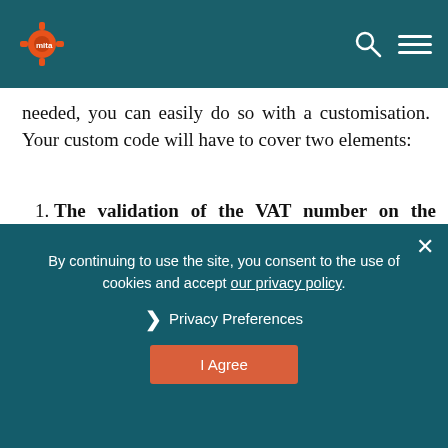MITA logo and navigation bar
needed, you can easily do so with a customisation. Your custom code will have to cover two elements:
The validation of the VAT number on the checkout page
When the field is set as “required”, the customer cannot go ahead with the checkout until such field is filled. For this
By continuing to use the site, you consent to the use of cookies and accept our privacy policy.
Privacy Preferences
I Agree